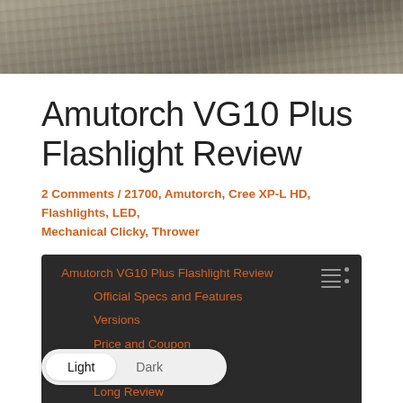[Figure (photo): Partial photo of rocky/stone surface, cropped at top of page]
Amutorch VG10 Plus Flashlight Review
2 Comments / 21700, Amutorch, Cree XP-L HD, Flashlights, LED, Mechanical Clicky, Thrower
Amutorch VG10 Plus Flashlight Review
Official Specs and Features
Versions
Price and Coupon
Short Review
Long Review
The Big Table
What's Included
Package and Manual